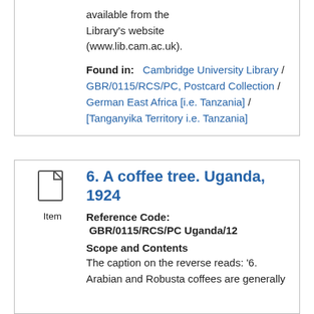available from the Library's website (www.lib.cam.ac.uk).
Found in: Cambridge University Library / GBR/0115/RCS/PC, Postcard Collection / German East Africa [i.e. Tanzania] / [Tanganyika Territory i.e. Tanzania]
6. A coffee tree. Uganda, 1924
Reference Code: GBR/0115/RCS/PC Uganda/12
Scope and Contents
The caption on the reverse reads: '6. Arabian and Robusta coffees are generally